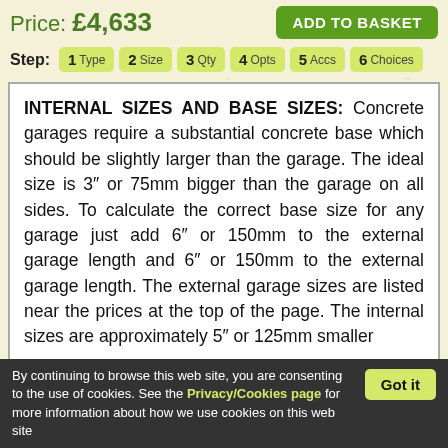Price: £4,633
ADD TO BASKET
Step: 1 Type  2 Size  3 Qty  4 Opts  5 Accs  6 Choices
INTERNAL SIZES AND BASE SIZES: Concrete garages require a substantial concrete base which should be slightly larger than the garage. The ideal size is 3" or 75mm bigger than the garage on all sides. To calculate the correct base size for any garage just add 6" or 150mm to the external garage length and 6" or 150mm to the external garage length. The external garage sizes are listed near the prices at the top of the page. The internal sizes are approximately 5" or 125mm smaller
By continuing to browse this web site, you are consenting to the use of cookies. See the Privacy/Cookies page for more information about how we use cookies on this web site
Got it